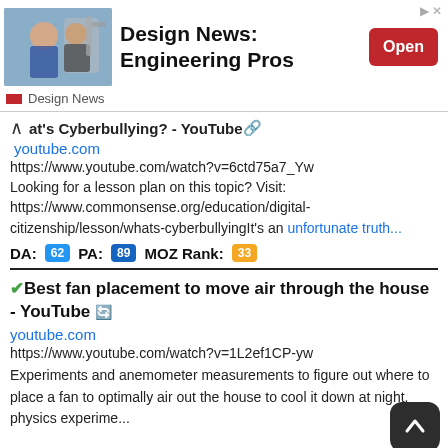[Figure (infographic): Advertisement banner for 'Design News: Engineering Pros' with photo of two men and a robot arm, red Open button, and close icons]
at's Cyberbullying? - YouTube
youtube.com
https://www.youtube.com/watch?v=6ctd75a7_Yw
Looking for a lesson plan on this topic? Visit:
https://www.commonsense.org/education/digital-citizenship/lesson/whats-cyberbullyingIt's an unfortunate truth...
DA: 62 PA: 89 MOZ Rank: 33
Best fan placement to move air through the house - YouTube
youtube.com
https://www.youtube.com/watch?v=1L2ef1CP-yw
Experiments and anemometer measurements to figure out where to place a fan to optimally air out the house to cool it down at night. physics experime...